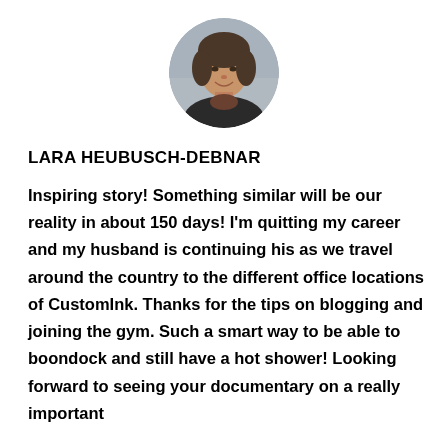[Figure (photo): Circular profile photo of a woman with dark hair pulled back, smiling, outdoors with a blurred background]
LARA HEUBUSCH-DEBNAR
Inspiring story! Something similar will be our reality in about 150 days! I’m quitting my career and my husband is continuing his as we travel around the country to the different office locations of CustomInk. Thanks for the tips on blogging and joining the gym. Such a smart way to be able to boondock and still have a hot shower! Looking forward to seeing your documentary on a really important